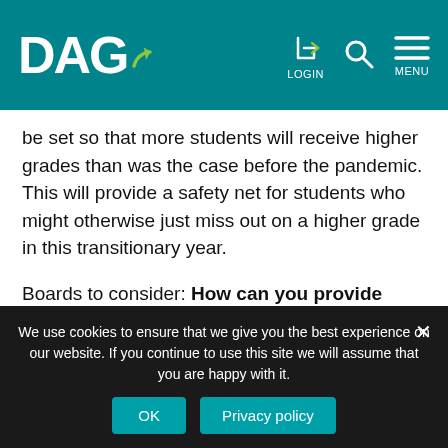DAG — LOGIN — MENU navigation header
be set so that more students will receive higher grades than was the case before the pandemic. This will provide a safety net for students who might otherwise just miss out on a higher grade in this transitionary year.
Boards to consider: How can you provide evidence that school improvement is happening in your school?
3.COVID-19 Recovery Funding
We use cookies to ensure that we give you the best experience on our website. If you continue to use this site we will assume that you are happy with it.